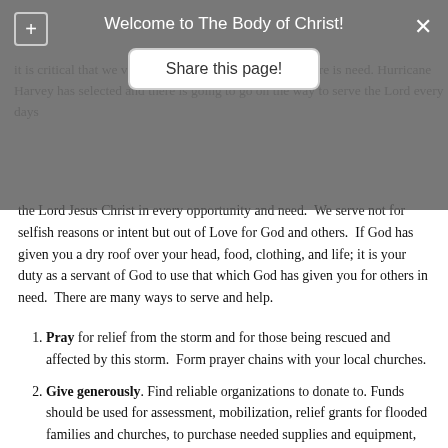Welcome to The Body of Christ!
the Lord Jesus Christ in every opportunity and need. We serve not for selfish reasons or intent but out of Love for God and others. If God has given you a dry roof over your head, food, clothing, and life; it is your duty as a servant of God to use that which God has given you for others in need. There are many ways to serve and help.
Pray for relief from the storm and for those being rescued and affected by this storm. Form prayer chains with your local churches.
Give generously. Find reliable organizations to donate to. Funds should be used for assessment, mobilization, relief grants for flooded families and churches, to purchase needed supplies and equipment, to construct Sheds of Hope, and to setup and operate flood recovery sites.
Send relief supplies. Large amounts...